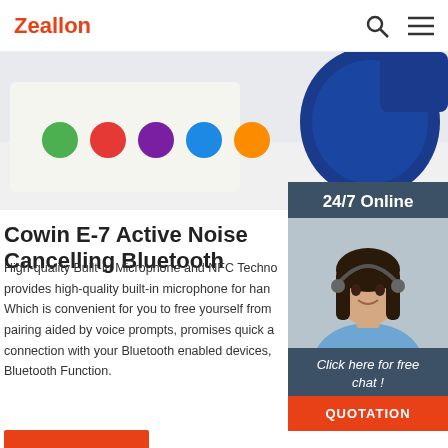Zeallon
[Figure (photo): Hero image showing audio/tech products including a device with colorful buttons and a blue speaker on a white background]
Cowin E-7 Active Noise Cancelling Bluetooth
High-quality Built-in Microphone and NFC Technology provides high-quality built-in microphone for hands-free. Which is convenient for you to free yourself from pairing aided by voice prompts, promises quick and stable connection with your Bluetooth enabled devices, with NFC Bluetooth Function.
[Figure (photo): Customer service representative woman wearing headset, smiling, with 24/7 Online panel and Click here for free chat / QUOTATION button]
Get Price